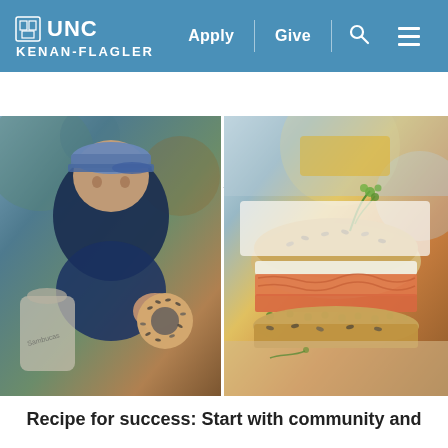UNC Kenan-Flagler Business School — Apply | Give | Search | Menu
Home ˅
[Figure (photo): Left: A smiling man in a blue baseball cap and navy shirt holding an everything bagel toward the camera, with a wrapped bagel bag visible. Right: A close-up of a bagel sandwich loaded with smoked salmon, cream cheese, capers, and fresh dill garnish.]
Recipe for success: Start with community and